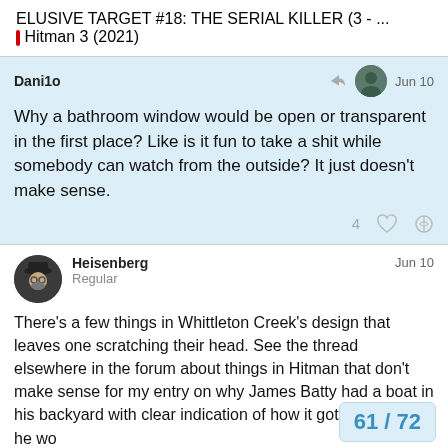ELUSIVE TARGET #18: THE SERIAL KILLER (3 - …
Hitman 3 (2021)
Dani1o  Jun 10
Why a bathroom window would be open or transparent in the first place? Like is it fun to take a shit while somebody can watch from the outside? It just doesn't make sense.
4
Heisenberg  Jun 10
Regular
There's a few things in Whittleton Creek's design that leaves one scratching their head. See the thread elsewhere in the forum about things in Hitman that don't make sense for my entry on why James Batty had a boat in his backyard with clear indication of how it got there or how he wo
We can add the bathroom windows to the
61 / 72